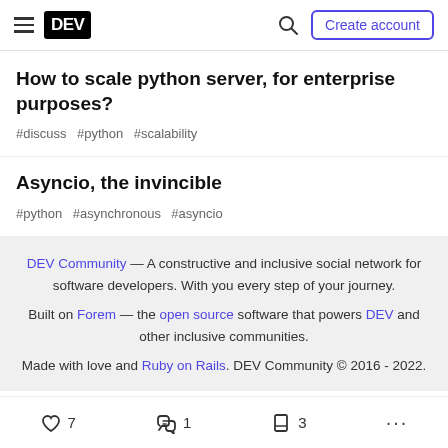DEV — Create account
How to scale python server, for enterprise purposes?
#discuss #python #scalability
Asyncio, the invincible
#python #asynchronous #asyncio
DEV Community — A constructive and inclusive social network for software developers. With you every step of your journey. Built on Forem — the open source software that powers DEV and other inclusive communities. Made with love and Ruby on Rails. DEV Community © 2016 - 2022.
7  1  3  ...